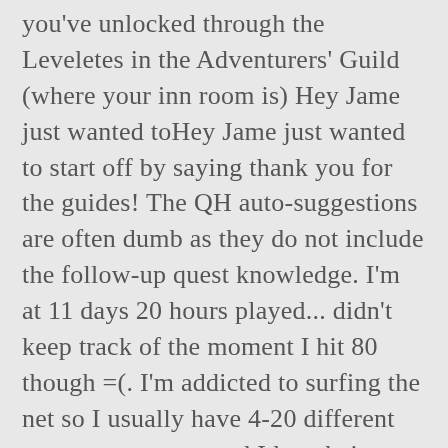you've unlocked through the Leveletes in the Adventurers' Guild (where your inn room is) Hey Jame just wanted toHey Jame just wanted to start off by saying thank you for the guides! The QH auto-suggestions are often dumb as they do not include the follow-up quest knowledge. I'm at 11 days 20 hours played... didn't keep track of the moment I hit 80 though =(. I'm addicted to surfing the net so I usually have 4-20 different pages up at once, and I love being able to click them separately rather alt+tabbing. I'll make an addon versionI'll make an addon version in the future. This is because it gives a great quest reward ax that's about equal to the one from Ingvar. I am a new player and the majority of hiccups in my